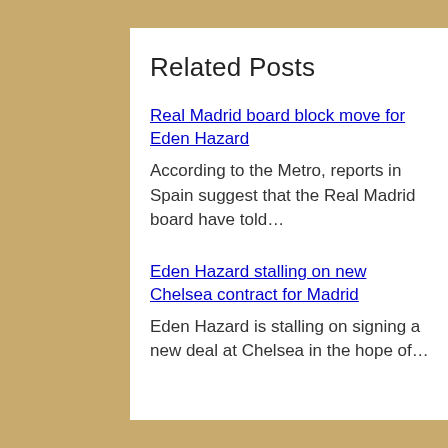Related Posts
Real Madrid board block move for Eden Hazard
According to the Metro, reports in Spain suggest that the Real Madrid board have told…
Eden Hazard stalling on new Chelsea contract for Madrid
Eden Hazard is stalling on signing a new deal at Chelsea in the hope of…